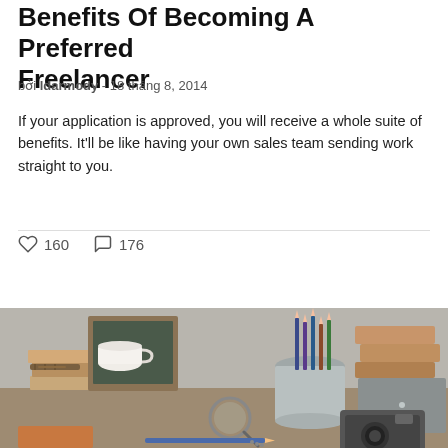Benefits Of Becoming A Preferred Freelancer
bởi ldarmody - 18 tháng 8, 2014
If your application is approved, you will receive a whole suite of benefits. It'll be like having your own sales team sending work straight to you.
160  176
[Figure (photo): A styled desk scene with a chalkboard frame, white coffee cup on stacked books, a pencil holder with colored pencils, orange boxes, a magnifying glass, a camera, and a pencil on a wooden surface.]